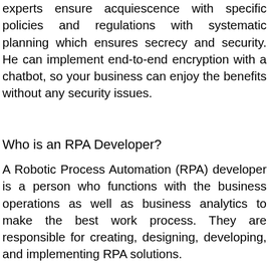experts ensure acquiescence with specific policies and regulations with systematic planning which ensures secrecy and security. He can implement end-to-end encryption with a chatbot, so your business can enjoy the benefits without any security issues.
Who is an RPA Developer?
A Robotic Process Automation (RPA) developer is a person who functions with the business operations as well as business analytics to make the best work process. They are responsible for creating, designing, developing, and implementing RPA solutions.